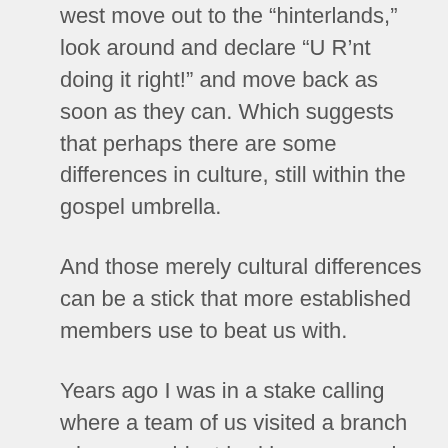west move out to the “hinterlands,” look around and declare “U R’nt doing it right!” and move back as soon as they can. Which suggests that perhaps there are some differences in culture, still within the gospel umbrella.
And those merely cultural differences can be a stick that more established members use to beat us with.
Years ago I was in a stake calling where a team of us visited a branch whose president had been a member less than a year. They invited us to sign their guestbook, which they had out in the foyer on a stand, just like Baptist churches do. I held my breath to see if the stake president would lecture that we don’t do that, or what. The stake president thanked him and signed.